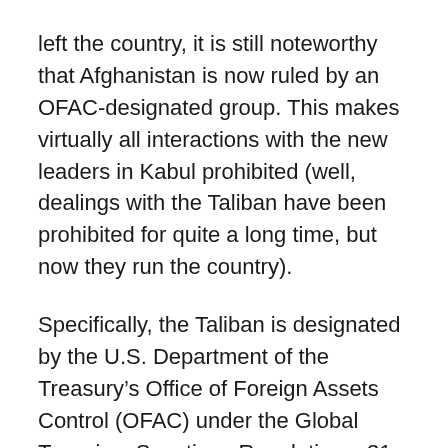left the country, it is still noteworthy that Afghanistan is now ruled by an OFAC-designated group. This makes virtually all interactions with the new leaders in Kabul prohibited (well, dealings with the Taliban have been prohibited for quite a long time, but now they run the country).
Specifically, the Taliban is designated by the U.S. Department of the Treasury's Office of Foreign Assets Control (OFAC) under the Global Terrorism Sanctions Regulations, 31 CFR Part 594 (the “GTSR”). This means that they are on OFAC’s list of Specially Designated Nationals and Blocked Persons (the “SDN List”, sometimes called the OFAC “blacklist”).
Dealings with such parties by U.S. persons (i.e., U.S. citizens and permanent residents wherever they reside, and U.S. companies or companies owned by them) are